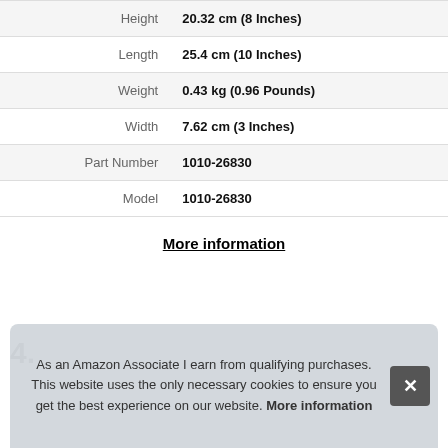| Attribute | Value |
| --- | --- |
| Height | 20.32 cm (8 Inches) |
| Length | 25.4 cm (10 Inches) |
| Weight | 0.43 kg (0.96 Pounds) |
| Width | 7.62 cm (3 Inches) |
| Part Number | 1010-26830 |
| Model | 1010-26830 |
More information
As an Amazon Associate I earn from qualifying purchases. This website uses the only necessary cookies to ensure you get the best experience on our website. More information